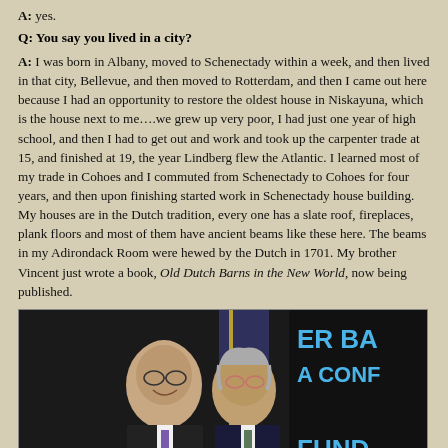A: yes.
Q: You say you lived in a city?
A: I was born in Albany, moved to Schenectady within a week, and then lived in that city, Bellevue, and then moved to Rotterdam, and then I came out here because I had an opportunity to restore the oldest house in Niskayuna, which is the house next to me….we grew up very poor, I had just one year of high school, and then I had to get out and work and took up the carpenter trade at 15, and finished at 19, the year Lindberg flew the Atlantic. I learned most of my trade in Cohoes and I commuted from Schenectady to Cohoes for four years, and then upon finishing started work in Schenectady house building. My houses are in the Dutch tradition, every one has a slate roof, fireplaces, plank floors and most of them have ancient beams like these here. The beams in my Adirondack Room were hewed by the Dutch in 1701. My brother Vincent just wrote a book, Old Dutch Barns in the New World, now being published.
[Figure (photo): Two men in suits at what appears to be a press conference or official event. An American flag is visible in the background along with a dark banner with partial text visible. The man on the left is bald with glasses, and the man on the right is elderly with gray hair and glasses.]